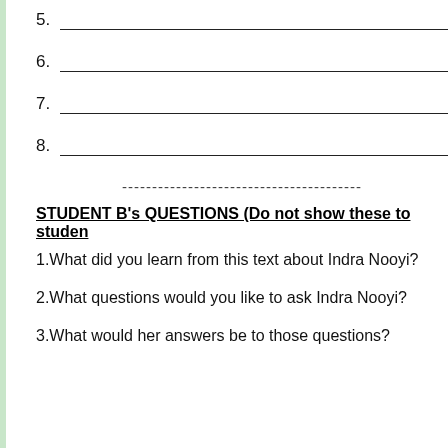5.___
6.___
7.___
8.___
----------------------------------------
STUDENT B's QUESTIONS (Do not show these to student
1.What did you learn from this text about Indra Nooyi?
2.What questions would you like to ask Indra Nooyi?
3.What would her answers be to those questions?